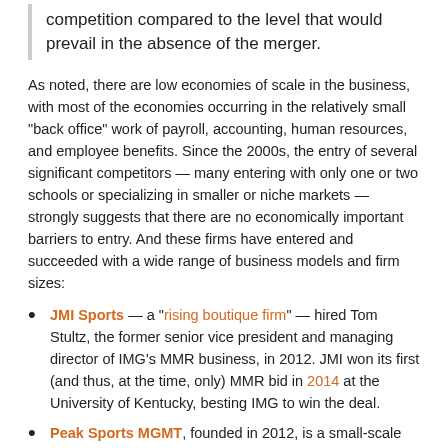competition compared to the level that would prevail in the absence of the merger.
As noted, there are low economies of scale in the business, with most of the economies occurring in the relatively small “back office” work of payroll, accounting, human resources, and employee benefits. Since the 2000s, the entry of several significant competitors — many entering with only one or two schools or specializing in smaller or niche markets — strongly suggests that there are no economically important barriers to entry. And these firms have entered and succeeded with a wide range of business models and firm sizes:
JMI Sports — a “rising boutique firm” — hired Tom Stultz, the former senior vice president and managing director of IMG’s MMR business, in 2012. JMI won its first (and thus, at the time, only) MMR bid in 2014 at the University of Kentucky, besting IMG to win the deal.
Peak Sports MGMT, founded in 2012, is a small-scale MMR firm that focuses on lesser Division I and II schools in Texas and the Midwest. It manages just seven small properties, including Southland Conference schools like the University of Central Arkansas and Southeastern Louisiana University.
Fox Sports entered the business in 2008 with a deal with